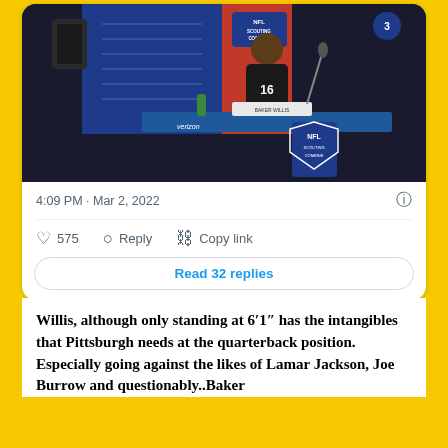[Figure (photo): NFL Scouting Combine press conference photo showing a player in jersey #16 sitting at a podium with NFL Combine branding backdrop]
4:09 PM · Mar 2, 2022
575  Reply  Copy link
Read 32 replies
Willis, although only standing at 6′1″ has the intangibles that Pittsburgh needs at the quarterback position. Especially going against the likes of Lamar Jackson, Joe Burrow and questionably..Baker